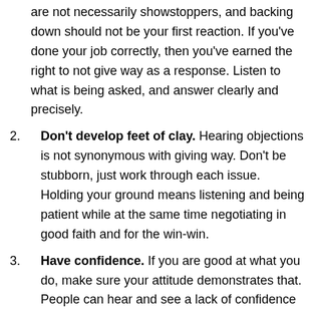are not necessarily showstoppers, and backing down should not be your first reaction. If you've done your job correctly, then you've earned the right to not give way as a response. Listen to what is being asked, and answer clearly and precisely.
Don't develop feet of clay. Hearing objections is not synonymous with giving way. Don't be stubborn, just work through each issue. Holding your ground means listening and being patient while at the same time negotiating in good faith and for the win-win.
Have confidence. If you are good at what you do, make sure your attitude demonstrates that. People can hear and see a lack of confidence or conviction, no matter how good the proposal is.